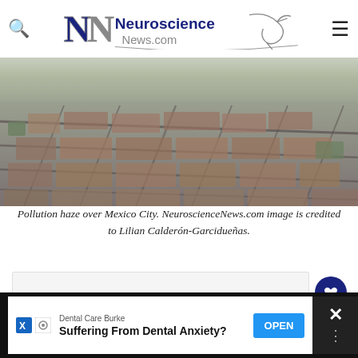Neuroscience News.com
[Figure (photo): Aerial photo of Mexico City with pollution haze visible over the dense urban grid of buildings and streets]
Pollution haze over Mexico City. NeuroscienceNews.com image is credited to Lilian Calderón-Garcidueñas.
[Figure (other): White/light grey content placeholder box]
[Figure (other): Floating action buttons: heart/like button (dark blue circle) and share button (white circle with share icon)]
[Figure (other): Advertisement banner at bottom: Dental Care Burke - Suffering From Dental Anxiety? with OPEN button]